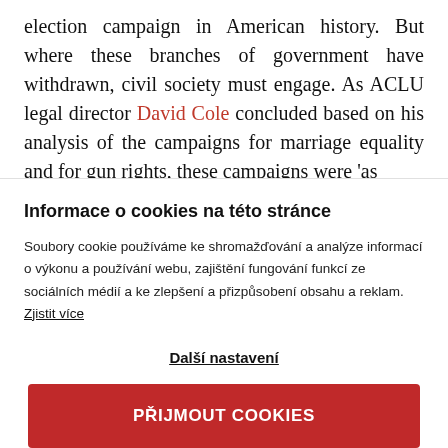election campaign in American history. But where these branches of government have withdrawn, civil society must engage. As ACLU legal director David Cole concluded based on his analysis of the campaigns for marriage equality and for gun rights, these campaigns were 'as
Informace o cookies na této stránce
Soubory cookie používáme ke shromažďování a analýze informací o výkonu a používání webu, zajištění fungování funkcí ze sociálních médií a ke zlepšení a přizpůsobení obsahu a reklam. Zjistit více
Další nastavení
PŘIJMOUT COOKIES